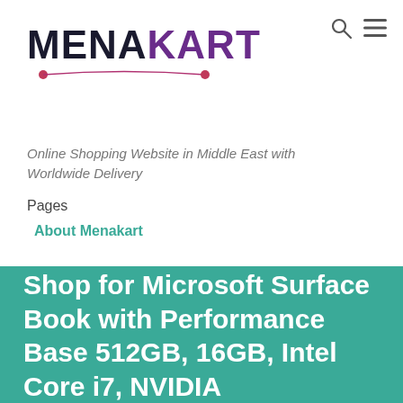[Figure (logo): Menakart logo with purple and dark text and pink underline arc]
Online Shopping Website in Middle East with Worldwide Delivery
Pages
About Menakart
Shop for Microsoft Surface Book with Performance Base 512GB, 16GB, Intel Core i7, NVIDIA